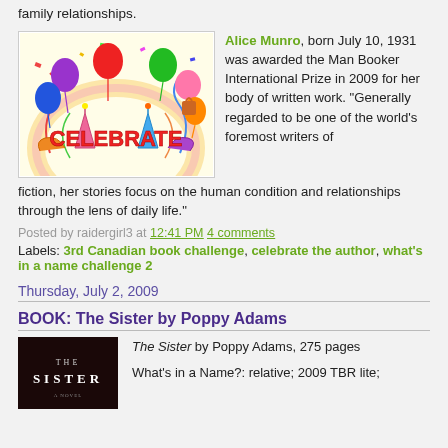family relationships.
[Figure (illustration): Colorful celebrate banner with balloons and party decorations]
Alice Munro, born July 10, 1931 was awarded the Man Booker International Prize in 2009 for her body of written work. "Generally regarded to be one of the world's foremost writers of fiction, her stories focus on the human condition and relationships through the lens of daily life."
Posted by raidergirl3 at 12:41 PM 4 comments
Labels: 3rd Canadian book challenge, celebrate the author, what's in a name challenge 2
Thursday, July 2, 2009
BOOK: The Sister by Poppy Adams
[Figure (photo): Book cover of The Sister - dark background with white title text]
The Sister by Poppy Adams, 275 pages
What's in a Name?: relative; 2009 TBR lite;